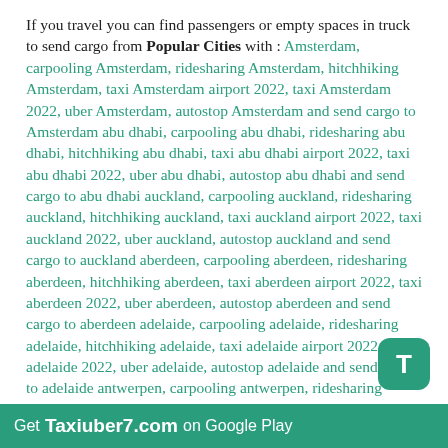If you travel you can find passengers or empty spaces in truck to send cargo from Popular Cities with : Amsterdam, carpooling Amsterdam, ridesharing Amsterdam, hitchhiking Amsterdam, taxi Amsterdam airport 2022, taxi Amsterdam 2022, uber Amsterdam, autostop Amsterdam and send cargo to Amsterdam abu dhabi, carpooling abu dhabi, ridesharing abu dhabi, hitchhiking abu dhabi, taxi abu dhabi airport 2022, taxi abu dhabi 2022, uber abu dhabi, autostop abu dhabi and send cargo to abu dhabi auckland, carpooling auckland, ridesharing auckland, hitchhiking auckland, taxi auckland airport 2022, taxi auckland 2022, uber auckland, autostop auckland and send cargo to auckland aberdeen, carpooling aberdeen, ridesharing aberdeen, hitchhiking aberdeen, taxi aberdeen airport 2022, taxi aberdeen 2022, uber aberdeen, autostop aberdeen and send cargo to aberdeen adelaide, carpooling adelaide, ridesharing adelaide, hitchhiking adelaide, taxi adelaide airport 2022, taxi adelaide 2022, uber adelaide, autostop adelaide and send cargo to adelaide antwerpen, carpooling antwerpen, ridesharing antwerpen, hitchhiking antwerpen, taxi antwerpen
Get Taxiuber7.com on Google Play